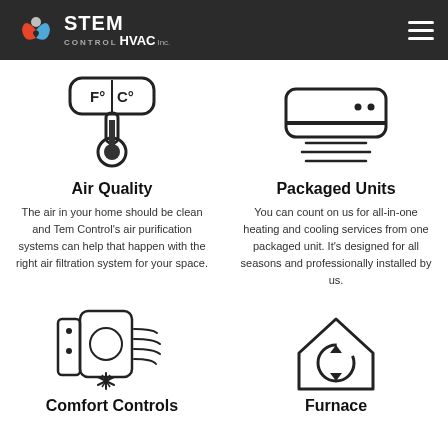TEM CONTROL HVAC Inc.
[Figure (illustration): Thermometer icon showing F° and C° scales]
Air Quality
The air in your home should be clean and Tem Control's air purification systems can help that happen with the right air filtration system for your space.
[Figure (illustration): Wall-mounted air conditioning unit icon with airflow lines]
Packaged Units
You can count on us for all-in-one heating and cooling services from one packaged unit. It's designed for all seasons and professionally installed by us.
[Figure (illustration): Ventilation fan unit icon with wind lines and snowflake]
Comfort Controls
[Figure (illustration): House icon with circular arrows (recycling/comfort symbol)]
Furnace